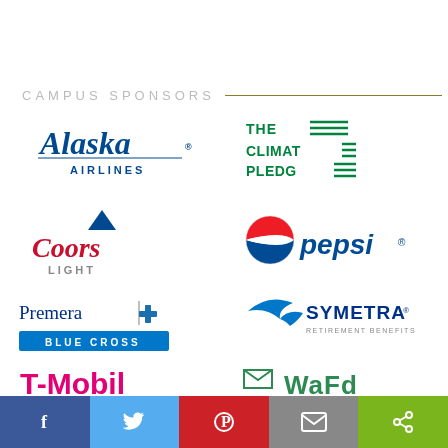CAMPUS SPONSORS
[Figure (logo): Alaska Airlines logo - navy blue script text 'Alaska' with dot, 'AIRLINES' in block letters below]
[Figure (logo): The Climate Pledge logo - green bold text 'THE CLIMATE PLEDGE' with horizontal bar decorations]
[Figure (logo): Coors Light logo - red cursive script 'Coors' with blue triangle, gray 'LIGHT' below]
[Figure (logo): Pepsi logo - iconic red/blue/white globe icon with blue italic 'pepsi.' text]
[Figure (logo): Premera Blue Cross logo - serif 'PREMERA' with blue cross icon, blue bar 'BLUE CROSS' below]
[Figure (logo): Symetra logo - stylized bird/swoosh in blue, bold 'SYMETRA' text, 'RETIREMENT BENEFITS LIFE' subtitle]
[Figure (logo): T-Mobile logo partially visible at bottom left]
[Figure (logo): WaFd logo partially visible at bottom right]
[Figure (infographic): Social media sharing bar at bottom: Facebook (blue), Twitter (light blue), Pinterest (red), Email (gray), Share (green)]